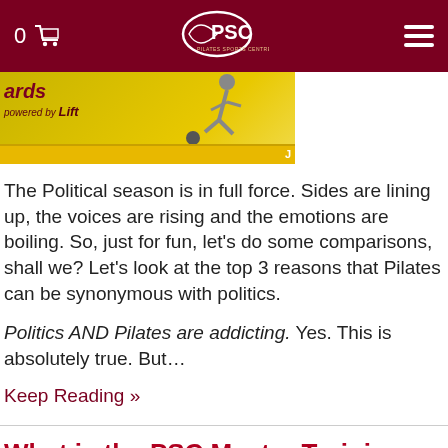0 [cart] PSC Pilates Sports Centre [menu]
[Figure (photo): Partial banner image showing 'cards powered by Lift' text on yellow background with a figure kicking a ball, and a yellow bar below with partial text 'J']
The Political season is in full force. Sides are lining up, the voices are rising and the emotions are boiling. So, just for fun, let's do some comparisons, shall we? Let's look at the top 3 reasons that Pilates can be synonymous with politics.
Politics AND Pilates are addicting. Yes. This is absolutely true. But...
Keep Reading »
What is the PSC Master Training Program?